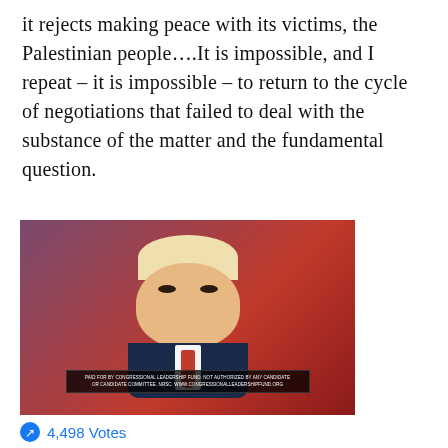it rejects making peace with its victims, the Palestinian people….It is impossible, and I repeat – it is impossible – to return to the cycle of negotiations that failed to deal with the substance of the matter and the fundamental question.
[Figure (photo): Photo of a man in a dark suit with a red tie against a red and purple background. A disclaimer bar is visible at the bottom of the image reading 'PAID FOR BY CONGRESSIONAL LEADERSHIP FUND. NOT AUTHORIZED BY ANY CANDIDATE OR CANDIDATE COMMITTEE. NRSC. WWW.CONGRESSIONALLEADERSHIPFUND.ORG']
4,498 Votes